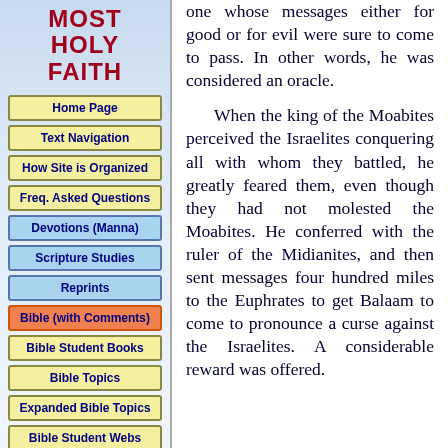MOST HOLY FAITH
Home Page
Text Navigation
How Site is Organized
Freq. Asked Questions
Devotions (Manna)
Scripture Studies
Reprints
Bible (with Comments)
Bible Student Books
Bible Topics
Expanded Bible Topics
Bible Student Webs
Miscellaneous
one whose messages either for good or for evil were sure to come to pass. In other words, he was considered an oracle.
When the king of the Moabites perceived the Israelites conquering all with whom they battled, he greatly feared them, even though they had not molested the Moabites. He conferred with the ruler of the Midianites, and then sent messages four hundred miles to the Euphrates to get Balaam to come to pronounce a curse against the Israelites. A considerable reward was offered.